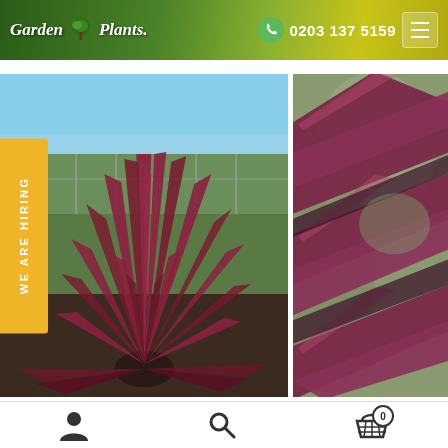[Figure (screenshot): Garden Plants website screenshot showing header with logo, phone number 0203 137 5159, menu button, two plant photos of red/purple spiky Cordyline plants, a 'WE ARE HIRING' badge, and bottom navigation bar with user, search, and basket icons.]
Garden Plants | 0203 137 5159
[Figure (photo): Left photo: Red/purple spiky Cordyline plant photographed outdoors in a nursery with greenhouse structures visible in the background.]
[Figure (photo): Right photo: Close-up of red/purple Cordyline leaves showing dark reddish-purple coloration with blurred background.]
WE ARE HIRING